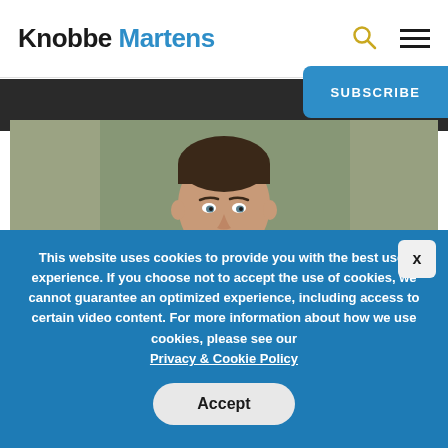Knobbe Martens
[Figure (photo): Professional headshot of a man with dark hair, photographed outdoors with a blurred background]
This website uses cookies to provide you with the best user experience. If you choose not to accept the use of cookies, we cannot guarantee an optimized experience, including access to certain video content. For more information about how we use cookies, please see our Privacy & Cookie Policy
Accept